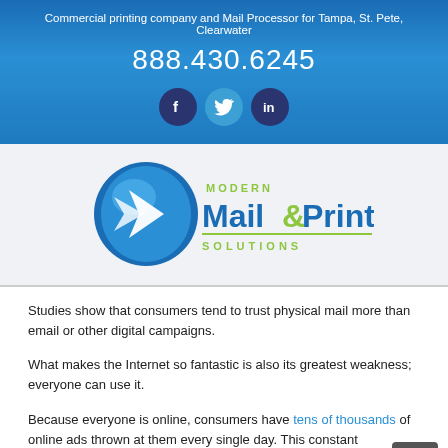Commercial printing company and Mail Processor for Tampa, St. Pete, Clearwater
888.430.6245
[Figure (logo): Social media icons: Facebook, Twitter, LinkedIn]
[Figure (logo): Modern Mail & Print Solutions logo with blue teardrop/arrow shape and green/blue text]
Studies show that consumers tend to trust physical mail more than email or other digital campaigns.
What makes the Internet so fantastic is also its greatest weakness; everyone can use it.
Because everyone is online, consumers have tens of thousands of online ads thrown at them every single day. This constant bombardment has decreased the emotional value of online ads.